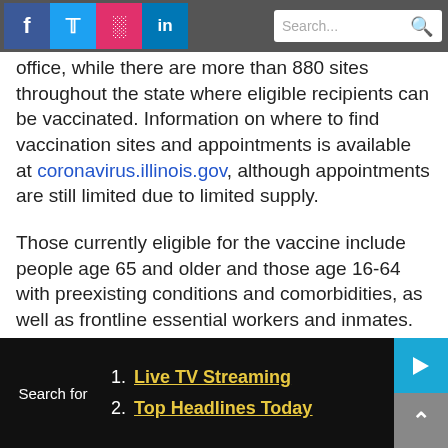[Figure (screenshot): Top navigation bar with Facebook, Twitter, Instagram, LinkedIn social icons and a search bar]
office, while there are more than 880 sites throughout the state where eligible recipients can be vaccinated. Information on where to find vaccination sites and appointments is available at coronavirus.illinois.gov, although appointments are still limited due to limited supply.
Those currently eligible for the vaccine include people age 65 and older and those age 16-64 with preexisting conditions and comorbidities, as well as frontline essential workers and inmates.
According to a New York Times
[Figure (screenshot): Bottom ad widget bar with 'Search for' label and two sponsored links: 1. Live TV Streaming, 2. Top Headlines Today, with teal play button and scroll-up arrow icons]